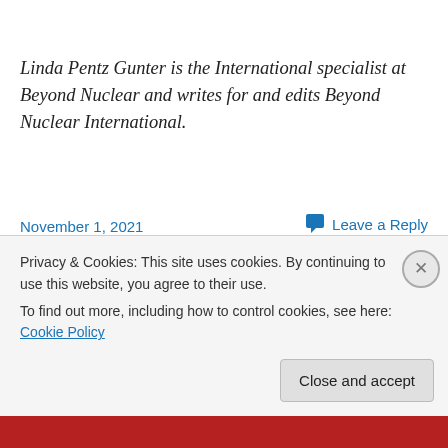Linda Pentz Gunter is the International specialist at Beyond Nuclear and writes for and edits Beyond Nuclear International.
November 1, 2021
Leave a Reply
Privacy & Cookies: This site uses cookies. By continuing to use this website, you agree to their use.
To find out more, including how to control cookies, see here: Cookie Policy
Close and accept